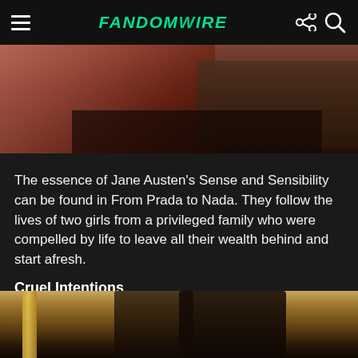FandomWire
[Figure (photo): Top portion of a photo showing a person with a bracelet/watch at a table, partially cropped at the header]
The essence of Jane Austen's Sense and Sensibility can be found in From Prada to Nada. They follow the lives of two girls from a privileged family who were compelled by life to leave all their wealth behind and start afresh.
Cruel Intentions
[Figure (photo): Bottom portion of a photo showing two people (a young man and a dark-haired woman) in front of an ornate gold-framed mirror or painting]